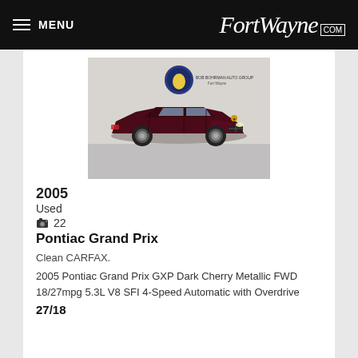MENU   FortWayne.com
[Figure (photo): Dark cherry metallic 2005 Pontiac Grand Prix GXP sedan photographed in a dealership showroom with Bob Bohrman Auto Group Fort Wayne logo visible]
2005
Used
📷 22
Pontiac Grand Prix
Clean CARFAX.
2005 Pontiac Grand Prix GXP Dark Cherry Metallic FWD 18/27mpg 5.3L V8 SFI 4-Speed Automatic with Overdrive
27/18